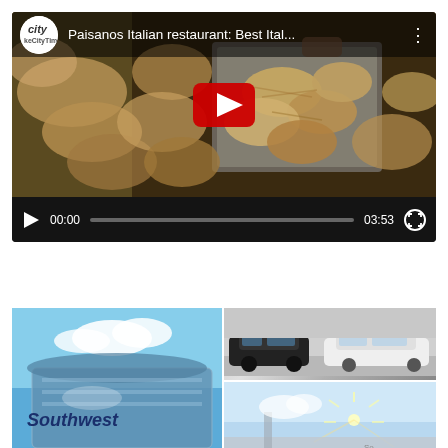[Figure (screenshot): YouTube-style video player showing 'Paisanos Italian restaurant: Best Ital...' with a food thumbnail, play button, and controls showing 00:00 / 03:53]
[Figure (screenshot): WordPress Follow button with WordPress logo icon]
[Figure (photo): 2x2 grid of thumbnails: left large image shows Southwest Airlines building exterior with blue sky; top-right shows cars in what appears to be an auto dealership; bottom-right shows outdoor scene with bright sun flare]